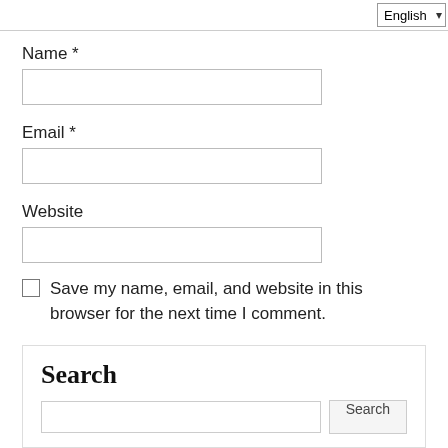English (dropdown)
Name *
Email *
Website
Save my name, email, and website in this browser for the next time I comment.
Post Comment
Search
Search